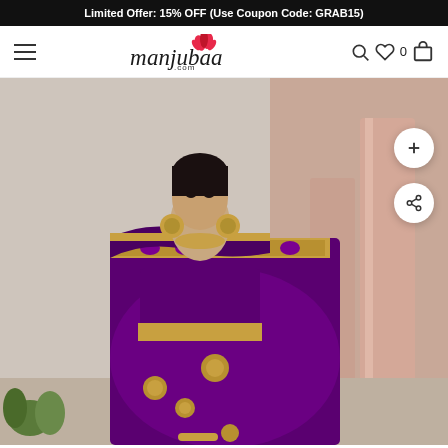Limited Offer: 15% OFF (Use Coupon Code: GRAB15)
[Figure (screenshot): Manjubaa.com e-commerce website navigation bar with hamburger menu, Manjubaa logo with lotus flower, search icon, heart icon, cart count 0, and shopping bag icon]
[Figure (photo): A woman wearing a purple silk saree with gold zari embroidery borders and motifs, gold jewellery including earrings and necklace, standing in front of an architectural background with pink columns. Two floating action buttons (plus and share) visible on the right side.]